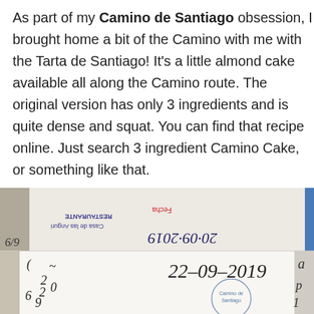As part of my Camino de Santiago obsession, I brought home a bit of the Camino with me with the Tarta de Santiago! It's a little almond cake available all along the Camino route. The original version has only 3 ingredients and is quite dense and squat. You can find that recipe online. Just search 3 ingredient Camino Cake, or something like that.
[Figure (photo): Photo of a pilgrim passport/credential with stamps and handwritten dates including '22-09-2019' and stamp from 'Casa de las Anguri' restaurant, showing various ink stamps and handwritten entries.]